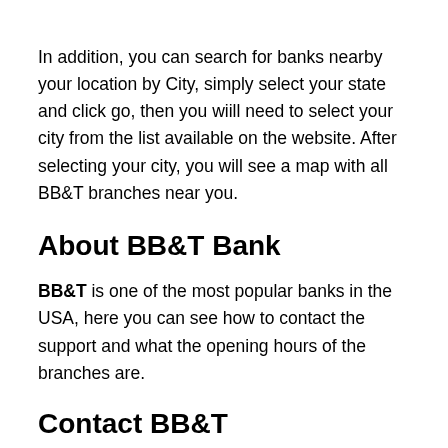In addition, you can search for banks nearby your location by City, simply select your state and click go, then you wiill need to select your city from the list available on the website. After selecting your city, you will see a map with all BB&T branches near you.
About BB&T Bank
BB&T is one of the most popular banks in the USA, here you can see how to contact the support and what the opening hours of the branches are.
Contact BB&T
Customer service: The main phone number to contact